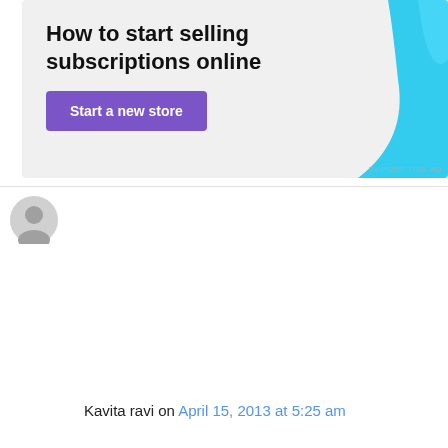[Figure (other): Advertisement banner with text 'How to start selling subscriptions online', a purple 'Start a new store' button, and a cyan decorative shape on the right. 'REPORT THIS AD' label at bottom right.]
Kavita ravi on April 15, 2013 at 5:25 am
Thanks a lot for ur lovely and tasty recipes. I am not all a gd cook but I always try to experiment something or the other. I had invited friends at home for Vishu sadhya which was yesterday. The Aviyal as well as the mango curry turned out to be gd which I am not at all gd at. Thanks to u for hvng such wonderful recipes of Kerala posted. At last not the least the sadhya turned out to be good and friends enjoyed too.